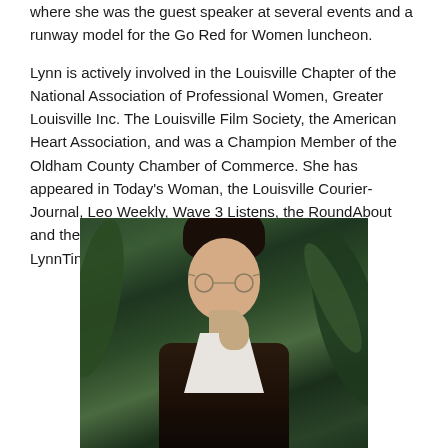where she was the guest speaker at several events and a runway model for the Go Red for Women luncheon.
Lynn is actively involved in the Louisville Chapter of the National Association of Professional Women, Greater Louisville Inc. The Louisville Film Society, the American Heart Association, and was a Champion Member of the Oldham County Chamber of Commerce. She has appeared in Today's Woman, the Louisville Courier-Journal, Leo Weekly, Wave 3 Listens, the RoundAbout and the Oldham Era. Email Lynn at LynnTincher@StardustRomance.com
[Figure (photo): Portrait photo of a young woman with short dark hair with bangs, wearing round glasses and a dark vest over a white collared shirt, with green foliage in the background.]